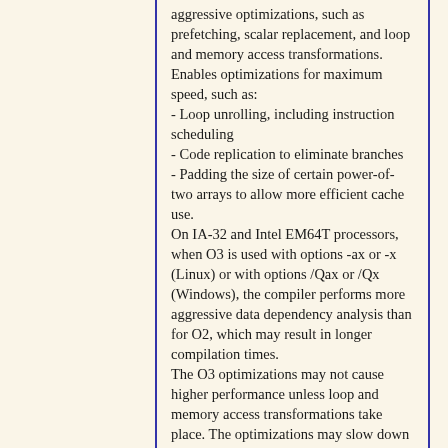aggressive optimizations, such as prefetching, scalar replacement, and loop and memory access transformations. Enables optimizations for maximum speed, such as:
- Loop unrolling, including instruction scheduling
- Code replication to eliminate branches
- Padding the size of certain power-of-two arrays to allow more efficient cache use.
On IA-32 and Intel EM64T processors, when O3 is used with options -ax or -x (Linux) or with options /Qax or /Qx (Windows), the compiler performs more aggressive data dependency analysis than for O2, which may result in longer compilation times.
The O3 optimizations may not cause higher performance unless loop and memory access transformations take place. The optimizations may slow down code in some cases compared to O2 optimizations.
The O3 option is recommended for